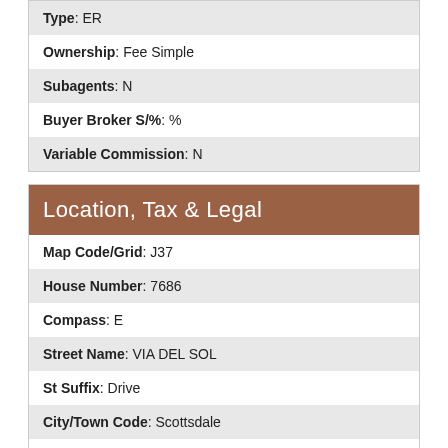| Type: ER |
| Ownership: Fee Simple |
| Subagents: N |
| Buyer Broker S/%: % |
| Variable Commission: N |
Location, Tax & Legal
| Map Code/Grid: J37 |
| House Number: 7686 |
| Compass: E |
| Street Name: VIA DEL SOL |
| St Suffix: Drive |
| City/Town Code: Scottsdale |
| State/Province: AZ |